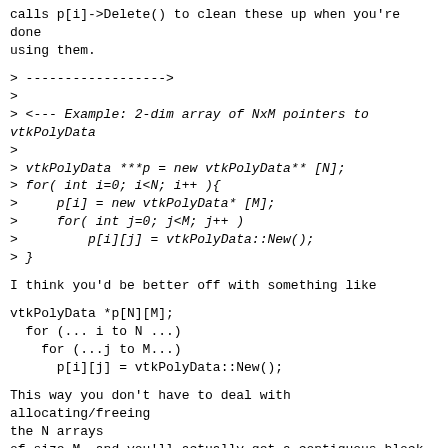calls p[i]->Delete() to clean these up when you're done using them.
> ------------------>
>
> <--- Example: 2-dim array of NxM pointers to vtkPolyData
>
> vtkPolyData ***p = new vtkPolyData** [N];
> for( int i=0; i<N; i++ ){
>     p[i] = new vtkPolyData* [M];
>     for( int j=0; j<M; j++ )
>         p[i][j] = vtkPolyData::New();
> }
I think you'd be better off with something like
vtkPolyData *p[N][M];
  for (... i to N ...)
    for (...j to M...)
      p[i][j] = vtkPolyData::New();
This way you don't have to deal with allocating/freeing the N arrays
of size M, and you'll actually get a contiguous block of vtkPolyData*
pointers. (The code you posted actually allocates an array of N
pointers to non-contiguous arrays of vtkPolyData*[M], rather than a
single block of NxM vtkPolyData*)